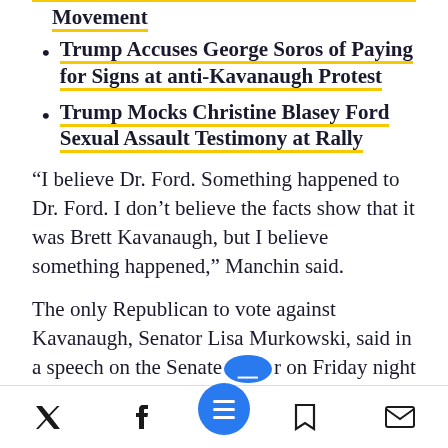Movement
Trump Accuses George Soros of Paying for Signs at anti-Kavanaugh Protest
Trump Mocks Christine Blasey Ford Sexual Assault Testimony at Rally
“I believe Dr. Ford. Something happened to Dr. Ford. I don’t believe the facts show that it was Brett Kavanaugh, but I believe something happened,” Manchin said.
The only Republican to vote against Kavanaugh, Senator Lisa Murkowski, said in a speech on the Senate floor on Friday night that